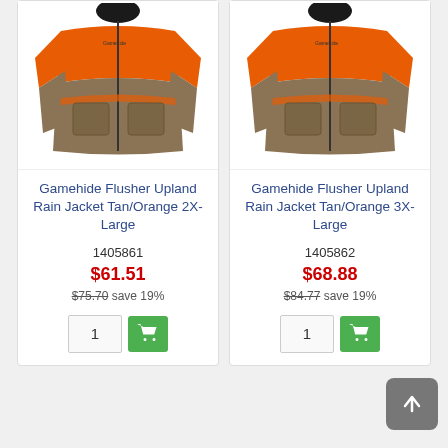[Figure (photo): Gamehide Flusher Upland Rain Jacket Tan/Orange 2X-Large product photo - jacket with orange upper body and tan/olive lower body with front pockets]
Gamehide Flusher Upland Rain Jacket Tan/Orange 2X-Large
1405861
$61.51
$75.70 save 19%
[Figure (photo): Gamehide Flusher Upland Rain Jacket Tan/Orange 3X-Large product photo - jacket with orange upper body and tan/olive lower body with front pockets]
Gamehide Flusher Upland Rain Jacket Tan/Orange 3X-Large
1405862
$68.88
$84.77 save 19%